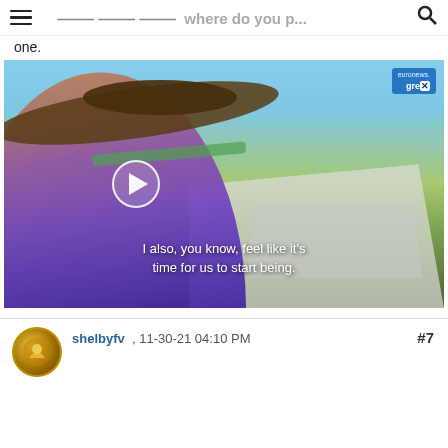≡  [forum title / where to post …]  🔍
one.
[Figure (screenshot): Video player screenshot showing a woman wearing a wide-brim straw hat and sunglasses at an outdoor festival, with a play button overlay, subtitle text reading 'I also, you know, feel like it's time for us to start being.', a Reply button in the top-right corner, and a Euronews/greex badge.]
shelbyfv , 11-30-21 04:10 PM   #7